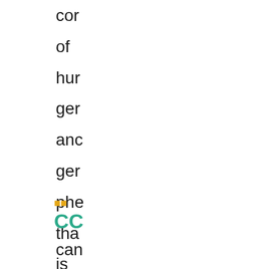cor
of
hur
ger
anc
ger
phe
tha
is
fre
ava
anc
upc
dai
CC
car
aris
as